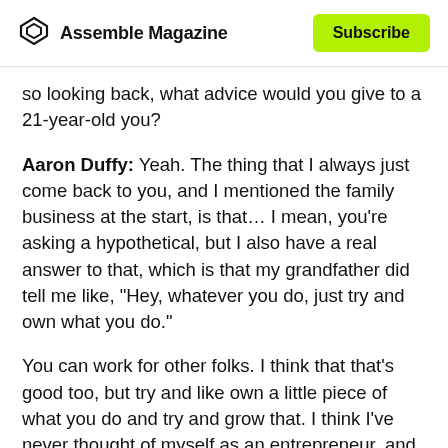Assemble Magazine  Subscribe
so looking back, what advice would you give to a 21-year-old you?
Aaron Duffy: Yeah. The thing that I always just come back to you, and I mentioned the family business at the start, is that… I mean, you're asking a hypothetical, but I also have a real answer to that, which is that my grandfather did tell me like, "Hey, whatever you do, just try and own what you do."
You can work for other folks. I think that that's good too, but try and like own a little piece of what you do and try and grow that. I think I've never thought of myself as an entrepreneur, and I don't think my grandfather really ever used the word entrepreneur, but I think what he